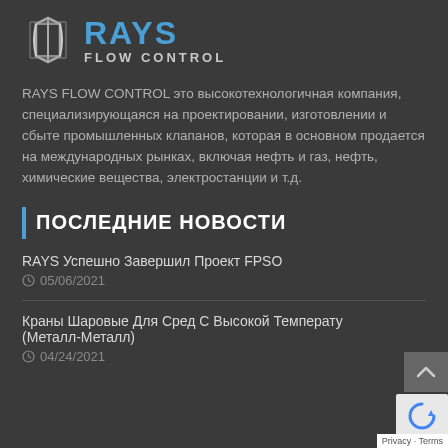[Figure (logo): RAYS FLOW CONTROL logo with geometric icon and blue text]
RAYS FLOW CONTROL это высокотехнологичная компания, специализирующаяся на проектировании, изготовлении и сбыте промышленных клапанов, которая в основном продается на международных рынках, включая нефть и газ, нефть, химические вещества, электростанции и т.д.
ПОСЛЕДНИЕ НОВОСТИ
RAYS Успешно Завершил Проект FPSO
05/06/2021
Краны Шаровые Для Сред С Высокой Температу (Металл-Металл)
04/24/2021